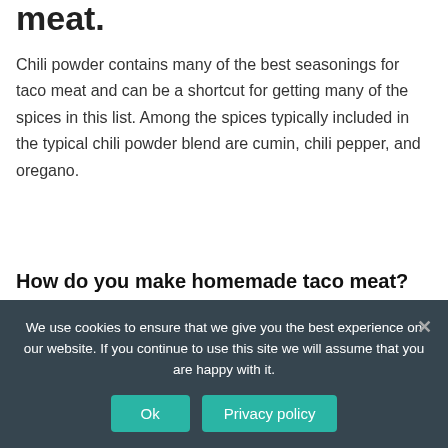meat.
Chili powder contains many of the best seasonings for taco meat and can be a shortcut for getting many of the spices in this list. Among the spices typically included in the typical chili powder blend are cumin, chili pepper, and oregano.
How do you make homemade taco meat?
How To Make Homemade Taco Meat My favorite way to make taco meat is by browning 1 pound of ground beef...
We use cookies to ensure that we give you the best experience on our website. If you continue to use this site we will assume that you are happy with it.